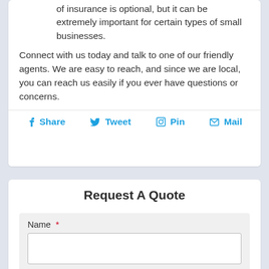of insurance is optional, but it can be extremely important for certain types of small businesses.
Connect with us today and talk to one of our friendly agents. We are easy to reach, and since we are local, you can reach us easily if you ever have questions or concerns.
Share  Tweet  Pin  Mail
Request A Quote
Name *
Email *